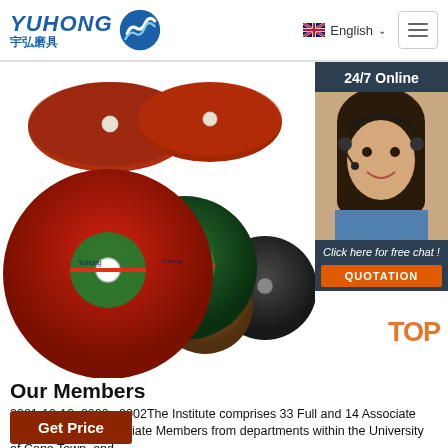YUHONG 宇弘磨具 — English
[Figure (photo): Product photo of grinding/cutting discs in various sizes and colors (red, green, dark) arranged on a white background, plus a smaller image of two red flap discs at the top]
[Figure (photo): Sidebar with 24/7 Online banner, photo of a female customer service agent wearing a headset, and a 'Click here for free chat!' call-to-action with orange QUOTATION button]
Our Members
2021-10-10u2002·u2002The Institute comprises 33 Full and 14 Associate Members, with 16 Affiliate Members from departments within the University of Cape Town, and …
Get Price